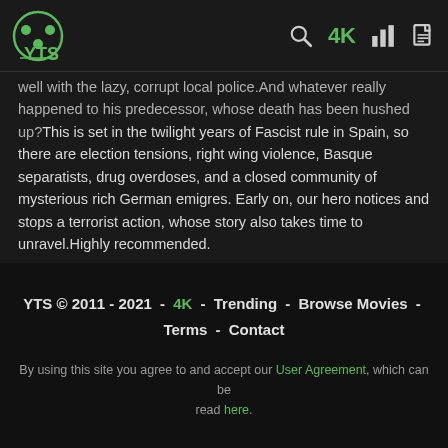YTS logo, search icon, 4K, bar chart icon, document icon
well with the lazy, corrupt local police.And whatever really happened to his predecessor, whose death has been hushed up?This is set in the twilight years of Fascist rule in Spain, so there are election tensions, right wing violence, Basque separatists, drug overdoses, and a closed community of mysterious rich German emigres. Early on, our hero notices and stops a terrorist action, whose story also takes time to unravel.Highly recommended.
Read more IMDb reviews
YTS © 2011 - 2021 - 4K - Trending - Browse Movies - Terms - Contact
By using this site you agree to and accept our User Agreement, which can be read here.